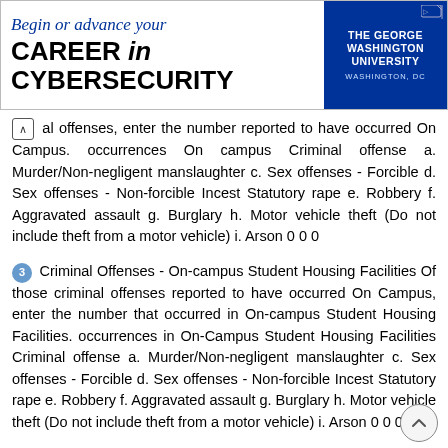[Figure (other): Advertisement banner for The George Washington University Cybersecurity program. Text reads 'Begin or advance your CAREER in CYBERSECURITY' with GWU logo on right side.]
al offenses, enter the number reported to have occurred On Campus. occurrences On campus Criminal offense a. Murder/Non-negligent manslaughter c. Sex offenses - Forcible d. Sex offenses - Non-forcible Incest Statutory rape e. Robbery f. Aggravated assault g. Burglary h. Motor vehicle theft (Do not include theft from a motor vehicle) i. Arson 0 0 0
3 Criminal Offenses - On-campus Student Housing Facilities Of those criminal offenses reported to have occurred On Campus, enter the number that occurred in On-campus Student Housing Facilities. occurrences in On-Campus Student Housing Facilities Criminal offense a. Murder/Non-negligent manslaughter c. Sex offenses - Forcible d. Sex offenses - Non-forcible Incest Statutory rape e. Robbery f. Aggravated assault g. Burglary h. Motor vehicle theft (Do not include theft from a motor vehicle) i. Arson 0 0 0